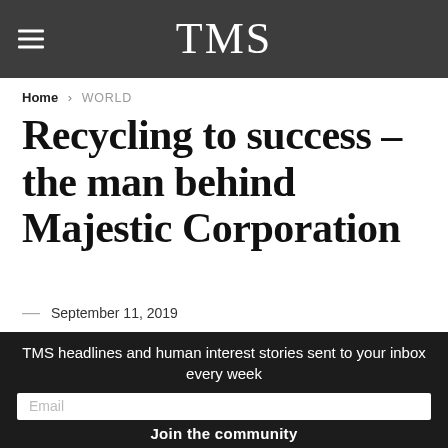TMS
Home > WORLD
Recycling to success – the man behind Majestic Corporation
— September 11, 2019
[Figure (photo): Outdoor photo showing a figure or sculpture against a grey sky, with dark textured elements on the left]
TMS headlines and human interest stories sent to your inbox every week
Email
Join the community